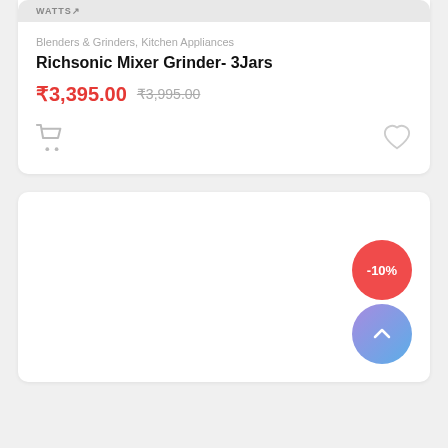WATTS↗
Blenders & Grinders, Kitchen Appliances
Richsonic Mixer Grinder- 3Jars
₹3,395.00  ₹3,995.00
[Figure (illustration): Shopping cart icon and heart/wishlist icon]
[Figure (infographic): Product card with -10% discount badge (red circle) and a scroll-to-top button (purple-blue gradient circle with upward chevron)]